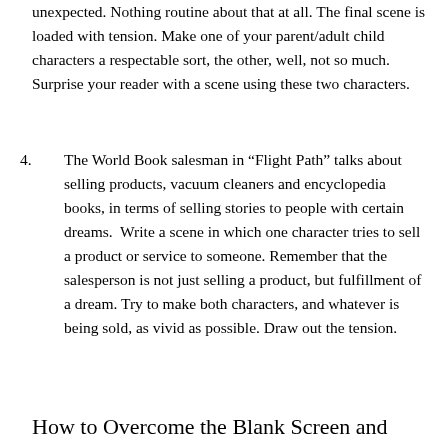unexpected. Nothing routine about that at all. The final scene is loaded with tension. Make one of your parent/adult child characters a respectable sort, the other, well, not so much. Surprise your reader with a scene using these two characters.
4. The World Book salesman in “Flight Path” talks about selling products, vacuum cleaners and encyclopedia books, in terms of selling stories to people with certain dreams.  Write a scene in which one character tries to sell a product or service to someone. Remember that the salesperson is not just selling a product, but fulfillment of a dream. Try to make both characters, and whatever is being sold, as vivid as possible. Draw out the tension.
How to Overcome the Blank Screen and